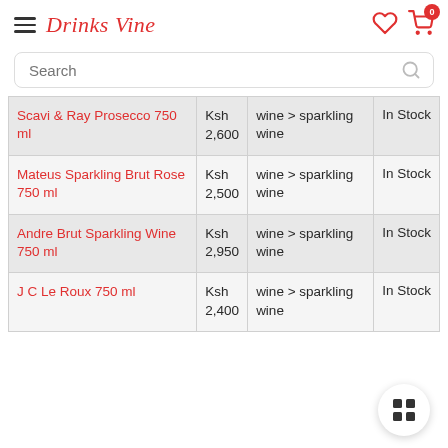Drinks Vine
Search
| Product | Price | Category | Availability |
| --- | --- | --- | --- |
| Scavi & Ray Prosecco 750 ml | Ksh 2,600 | wine > sparkling wine | In Stock |
| Mateus Sparkling Brut Rose 750 ml | Ksh 2,500 | wine > sparkling wine | In Stock |
| Andre Brut Sparkling Wine 750 ml | Ksh 2,950 | wine > sparkling wine | In Stock |
| J C Le Roux 750 ml | Ksh 2,400 | wine > sparkling wine | In Stock |